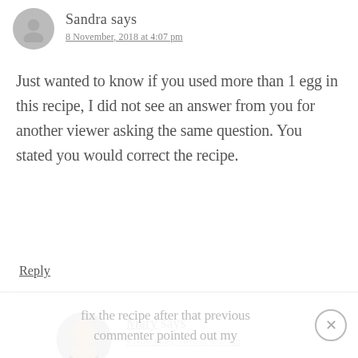Sandra says
8 November, 2018 at 4:07 pm
Just wanted to know if you used more than 1 egg in this recipe, I did not see an answer from you for another viewer asking the same question. You stated you would correct the recipe.
Reply
Mary says
9 November, 2018 at 9:07 am
Hi Sandra! I did indeed
fix the recipe after that previous commenter pointed out my